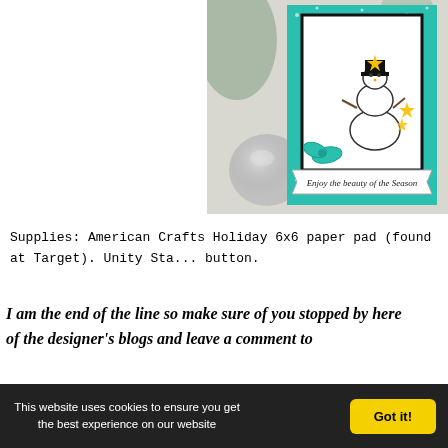[Figure (photo): Photo of a handmade Christmas card featuring a snowman with a teal/turquoise border, bow, and 'Enjoy the beauty of the Season' text, surrounded by silver glitter ornament balls and greenery in the background.]
Supplies: American Crafts Holiday 6x6 paper pad (found at Target). Unity Sta... button.
I am the end of the line so make sure of you stopped by here of the designer's blogs and leave a comment to
[Figure (other): Linked to: thumbnail image placeholder]
[Figure (other): Linked to: thumbnail image placeholder]
[Figure (other): Linked to: thumbnail image placeholder]
This website uses cookies to ensure you get the best experience on our website
Got it!